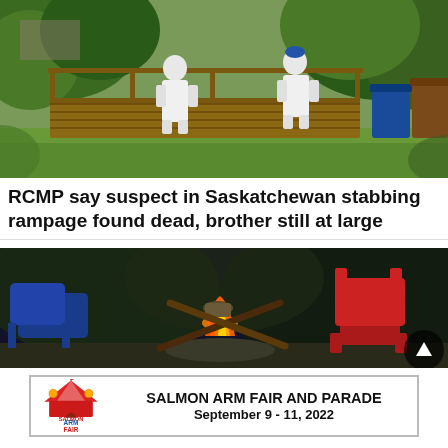[Figure (photo): Two forensic investigators in white hazmat suits walking on a wooden deck or ramp surrounded by green grass and trees, with blue and brown garbage bins visible on the right side.]
RCMP say suspect in Saskatchewan stabbing rampage found dead, brother still at large
[Figure (photo): Nighttime outdoor campfire scene with a blue reclining chair on the left and a red Adirondack chair on the right, with flames visible in the center foreground on a stone surface, surrounded by dark trees.]
[Figure (other): Advertisement banner for Salmon Arm Fair and Parade, September 9-11, 2022, with the Salmon Arm Fair logo on the left showing a circus tent graphic.]